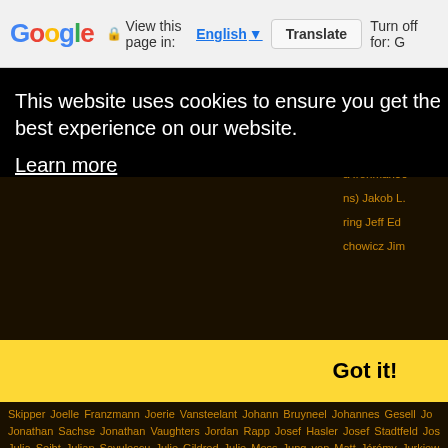Google | View this page in: English | Translate | Turn off for: G
This website uses cookies to ensure you get the best experience on our website. Learn more
Got it!
Skipper Joelle Franzmann Joerie Vansteelant Johann Bruyneel Johannes Gesell Jo Jonathan Sachse Jonathan Vaughters Jordan Rapp Josef Hasler Josef Stadtfeld Jos Julia Seibt Julian Savulescu Julie Gildred Julie Moss Jung von Matt Jérémy Jurkiew K. O'Connell Kahului Kai Hundertmarck Kaisa Lehtonen Kaisa Sali Kanda A Kaneg Kate Mittelstadt Kate Roberts Kathleen Mc Cartney Kathrin Müller Kathy LeMond Ka Kent Horner Kent Wong Kevin Moats Kiel Kilogramm Kim Bushong Kirsten Kasper Ziegler Klitschko Koga J Koike Yuriko Kona Brewery Korruption Kortikosteroide Kre Chemlany L.B. Baker L.K. Stewart LA Messonnier LEOPARD TREK Lagardère Uni Lava Magazine Lee Gruenfeld Leilani Leo Latasch Leonardo Chacon Lew Hollande Lisa Mensink Lisa Sieburger Liz Broad Liz Kollar Lizzie Orchard Long Board Islan Kampkötter Luke Bell Lynne Cox M. Collins M. Lamprecht M. Posthumus M2O Ma Manfred Jung Manuel Debus Marc Biver Marcel Wüst Marco Göckus Marcus Schne Emerton Mark Fretta Mark Milde Mark Sisson Mark Van Akkeren Marketing Markus Agustin Mascha Will-Zocholl Mathias Hecht Mathias Müller Matt Barger Matt Russe